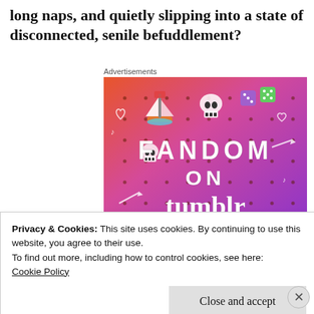long naps, and quietly slipping into a state of disconnected, senile befuddlement?
Advertisements
[Figure (illustration): Fandom on Tumblr advertisement banner with colorful gradient orange to purple background, featuring illustrated icons (sailboat, skull, dice, music notes, hearts), and large text reading FANDOM ON tumblr]
Privacy & Cookies: This site uses cookies. By continuing to use this website, you agree to their use.
To find out more, including how to control cookies, see here: Cookie Policy
Advertisements